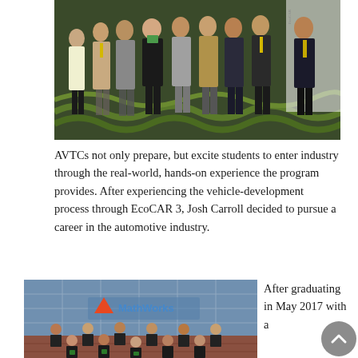[Figure (photo): Group photo of students in formal attire standing together at an event, likely an awards ceremony, on a patterned carpet with a backdrop behind them.]
AVTCs not only prepare, but excite students to enter industry through the real-world, hands-on experience the program provides. After experiencing the vehicle-development process through EcoCAR 3, Josh Carroll decided to pursue a career in the automotive industry.
[Figure (photo): Group photo of students in dark t-shirts standing in front of a MathWorks building with glass facade.]
After graduating in May 2017 with a